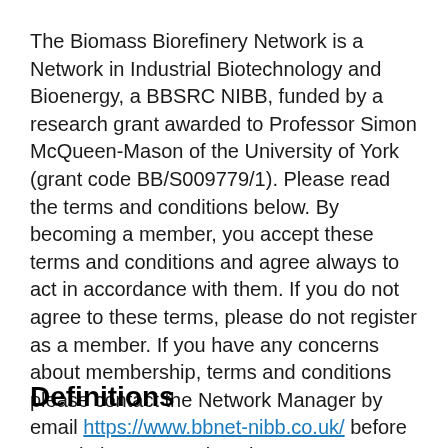The Biomass Biorefinery Network is a Network in Industrial Biotechnology and Bioenergy, a BBSRC NIBB, funded by a research grant awarded to Professor Simon McQueen-Mason of the University of York (grant code BB/S009779/1). Please read the terms and conditions below. By becoming a member, you accept these terms and conditions and agree always to act in accordance with them. If you do not agree to these terms, please do not register as a member. If you have any concerns about membership, terms and conditions please contact the Network Manager by email https://www.bbnet-nibb.co.uk/ before completing your registration.
Definitions